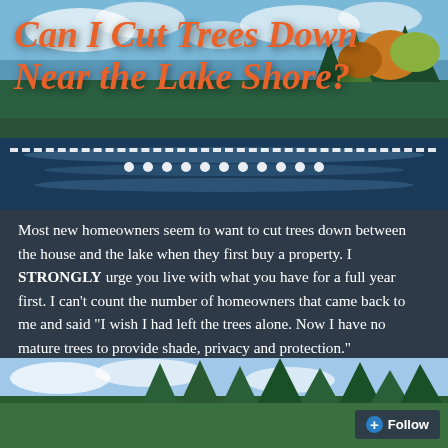[Figure (photo): Aerial lake shore photo with autumn trees reflecting in calm water, blue sky with clouds above]
Can I Cut Trees Down Near the Lake Shore?
Most new homeowners seem to want to cut trees down between the house and the lake when they first buy a property. I STRONGLY urge you live with what you have for a full year first. I can't count the number of homeowners that came back to me and said "I wish I had left the trees alone. Now I have no mature trees to provide shade, privacy and protection."
[Figure (photo): Tall green conifer trees against a blue sky with white clouds]